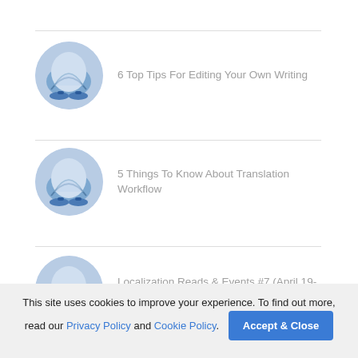6 Top Tips For Editing Your Own Writing
5 Things To Know About Translation Workflow
Localization Reads & Events #7 (April 19-25)
This site uses cookies to improve your experience. To find out more, read our Privacy Policy and Cookie Policy.
Accept & Close